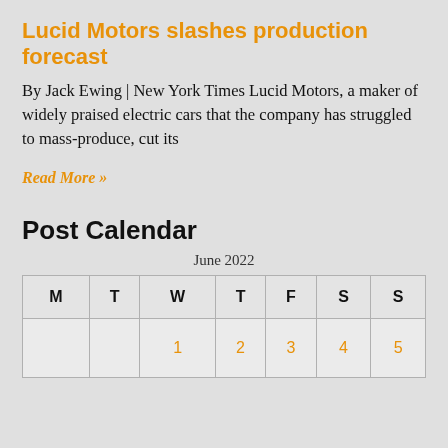Lucid Motors slashes production forecast
By Jack Ewing | New York Times Lucid Motors, a maker of widely praised electric cars that the company has struggled to mass-produce, cut its
Read More »
Post Calendar
June 2022
| M | T | W | T | F | S | S |
| --- | --- | --- | --- | --- | --- | --- |
|  |  | 1 | 2 | 3 | 4 | 5 |